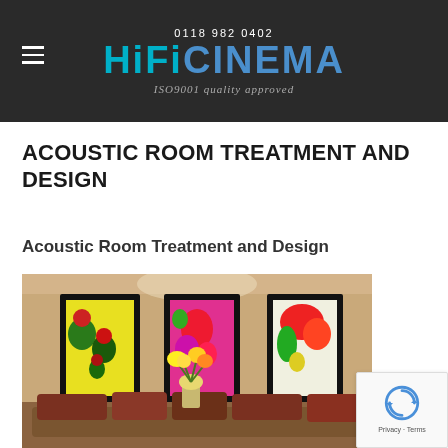0118 982 0402
HiFiCINEMA
ISO9001 quality approved
ACOUSTIC ROOM TREATMENT AND DESIGN
Acoustic Room Treatment and Design
[Figure (photo): Interior room with three framed colorful floral paintings on a warm beige wall, and a sofa with decorative cushions and a vase of flowers in the foreground]
Acoustic
[Figure (other): Google reCAPTCHA badge with Privacy and Terms links]